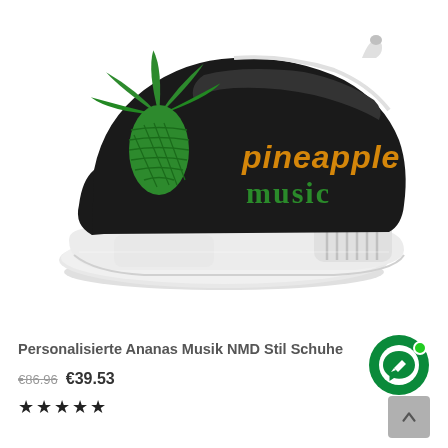[Figure (photo): Black slip-on sneaker in NMD/Boost style with white chunky sole. The shoe features a green pineapple graphic and orange 'pineapple' text with green 'music' text in a stylized font on the side. The sole has a characteristic plug detail on the heel.]
Personalisierte Ananas Musik NMD Stil Schuhe
€86.96 €39.53
★★★★★